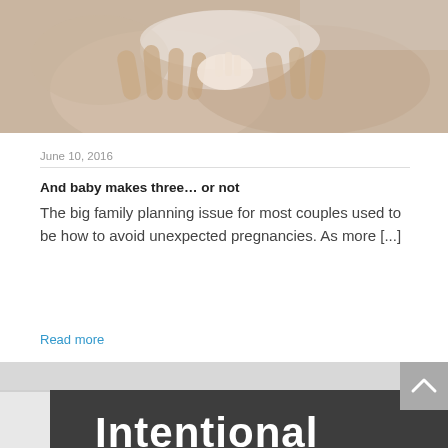[Figure (photo): Close-up photo of hands holding a baby, soft light tones]
June 10, 2016
And baby makes three… or not
The big family planning issue for most couples used to be how to avoid unexpected pregnancies. As more [...]
Read more
[Figure (photo): Black and white image showing the words 'Intentional' on a dark banner and 'Fear of side-effe' on a paper label below]